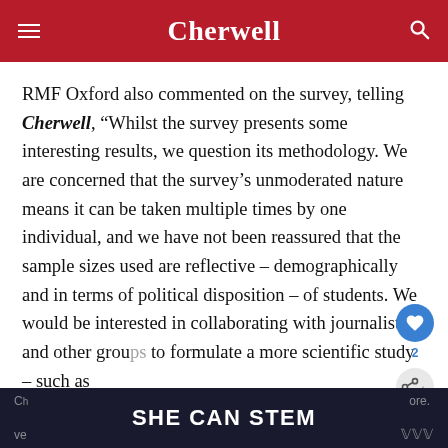Cherwell
RMF Oxford also commented on the survey, telling Cherwell, “Whilst the survey presents some interesting results, we question its methodology. We are concerned that the survey’s unmoderated nature means it can be taken multiple times by one individual, and we have not been reassured that the sample sizes used are reflective – demographically and in terms of political disposition – of students. We would be interested in collaborating with journalists and other groups to formulate a more scientific study – such as
[Figure (other): SHE CAN STEM advertisement banner at the bottom of the page]